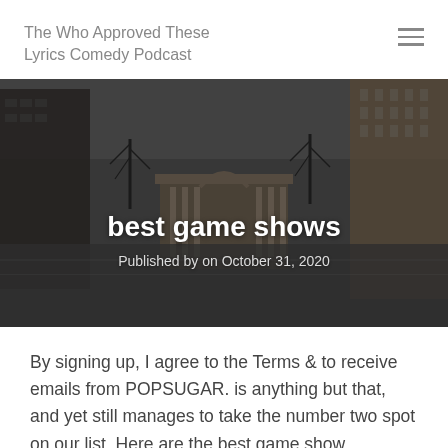The Who Approved These Lyrics Comedy Podcast
[Figure (photo): Panoramic street-level photo of a city plaza with a classical building (rotunda/pavilion), bare winter trees, modern skyscrapers on the sides, overcast sky, and pedestrians walking on wet pavement.]
best game shows
Published by on October 31, 2020
By signing up, I agree to the Terms & to receive emails from POPSUGAR. is anything but that, and yet still manages to take the number two spot on our list. Here are the best game show moments of 2018. quite often leaves the fans